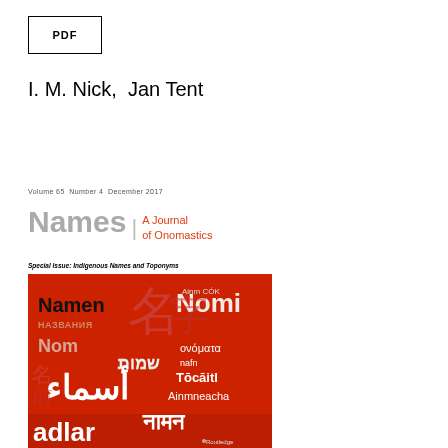[Figure (other): PDF button/link box with bold text 'PDF']
I. M. Nick,  Jan Tent
Volume 65  Number 4  December 2017
[Figure (logo): Names: A Journal of Onomastics logo with grey 'Names' text and red subtitle]
Special Issue: Indigenous Names and Toponyms
[Figure (photo): Red journal cover showing the word 'Names' written in many world languages including Arabic, Hebrew, Russian, Chinese, Japanese, German, Italian, Greek, Irish, Hindi, and Turkish on a red background with Routledge publisher logo]